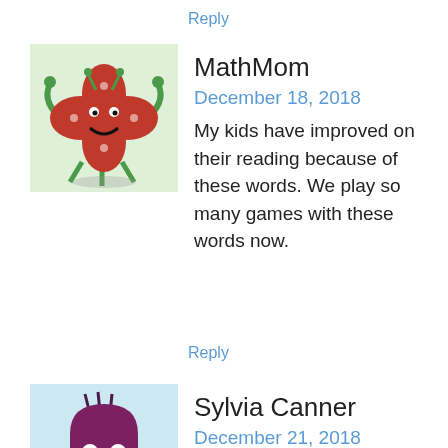Reply
[Figure (illustration): Cartoon avatar of MathMom - red flower-like creature with green arms on light green background]
MathMom
December 18, 2018
My kids have improved on their reading because of these words. We play so many games with these words now.
Reply
[Figure (illustration): Cartoon avatar of Sylvia Canner - dark purple ghost-like creature on light blue background]
Sylvia Canner
December 21, 2018
What list is after the 10th 100 Fry words?
Reply
[Figure (illustration): Cartoon avatar of Cory Baker - blue lobster-like creature on pink background]
Cory Baker
December 27, 2018